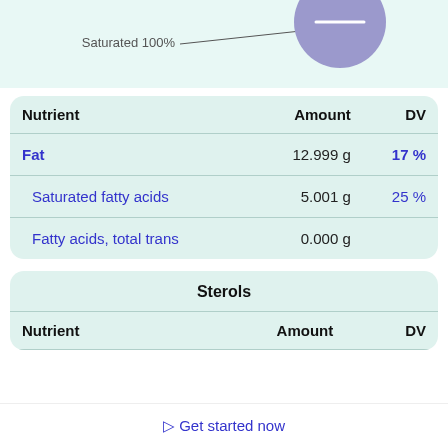[Figure (pie-chart): Partial pie chart showing Saturated 100% label with a lavender/purple circle]
| Nutrient | Amount | DV |
| --- | --- | --- |
| Fat | 12.999 g | 17 % |
| Saturated fatty acids | 5.001 g | 25 % |
| Fatty acids, total trans | 0.000 g |  |
Sterols
| Nutrient | Amount | DV |
| --- | --- | --- |